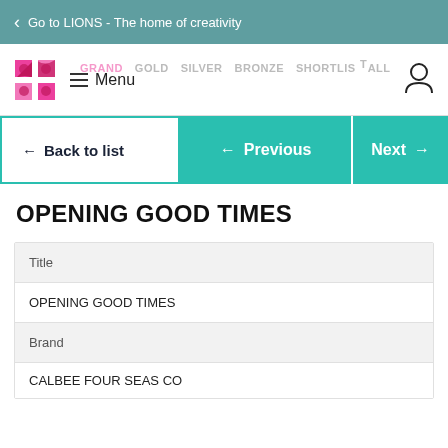< Go to LIONS - The home of creativity
[Figure (logo): Cannes Lions logo with menu icon and navigation links (GRAND, GOLD, SILVER, BRONZE, SHORTLIST, ALL) and user account icon]
← Back to list
← Previous   Next →
OPENING GOOD TIMES
| Title |
| OPENING GOOD TIMES |
| Brand |
| CALBEE FOUR SEAS CO. |
CALBEE FOUR SEAS CO.